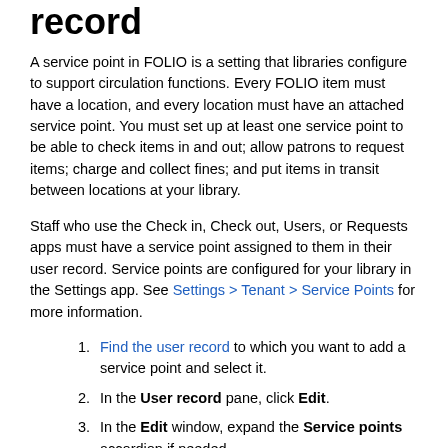record
A service point in FOLIO is a setting that libraries configure to support circulation functions. Every FOLIO item must have a location, and every location must have an attached service point. You must set up at least one service point to be able to check items in and out; allow patrons to request items; charge and collect fines; and put items in transit between locations at your library.
Staff who use the Check in, Check out, Users, or Requests apps must have a service point assigned to them in their user record. Service points are configured for your library in the Settings app. See Settings > Tenant > Service Points for more information.
Find the user record to which you want to add a service point and select it.
In the User record pane, click Edit.
In the Edit window, expand the Service points accordion if needed.
Click Add service points.